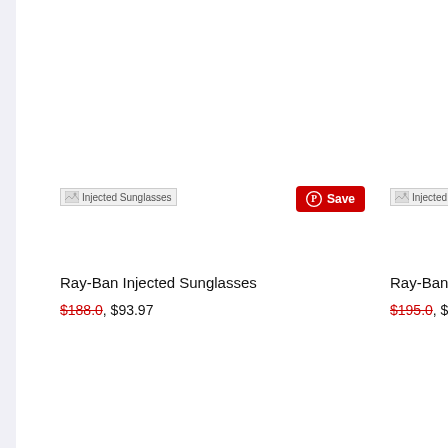[Figure (screenshot): E-commerce product listing page showing two Ray-Ban Injected Sunglasses product cards with prices. Left card shows broken image icon labeled 'Injected Sunglasses', a Pinterest Save button in red, product title 'Ray-Ban Injected Sunglasses', original price $188.0 struck through in red, sale price $93.97. Right card shows similar broken image icon labeled 'Injected' (partially visible), product title 'Ray-Ban I...' (truncated), original price $195.0 struck through in red, sale price partially visible '$9...'.]